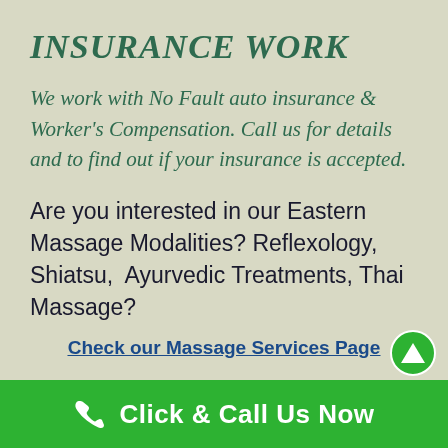INSURANCE WORK
We work with No Fault auto insurance & Worker's Compensation. Call us for details and to find out if your insurance is accepted.
Are you interested in our Eastern Massage Modalities? Reflexology, Shiatsu, Ayurvedic Treatments, Thai Massage?
Check our Massage Services Page
Click & Call Us Now